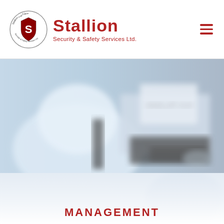Stallion Security & Safety Services Ltd.
[Figure (photo): Blurred image of a person in a white shirt working at a laptop, with the Stallion company logo visible on a screen in the background]
[Figure (photo): Faded/blurred image of a person in a light blue shirt holding papers or a device, very washed out toward white]
MANAGEMENT